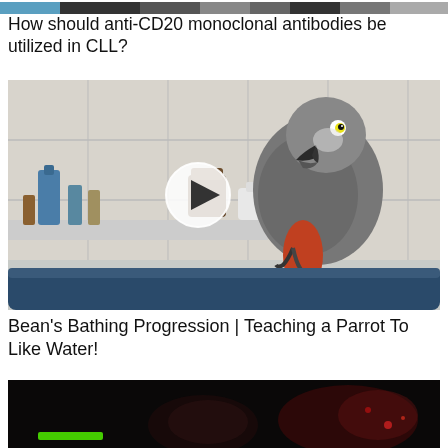[Figure (photo): Partial top strip of a medical/scientific image, cropped at top of page]
How should anti-CD20 monoclonal antibodies be utilized in CLL?
[Figure (photo): A grey African grey parrot perched on a blue bar in a bathroom, beak open, with a video play button overlay. Bathroom products visible in background.]
Bean's Bathing Progression | Teaching a Parrot To Like Water!
[Figure (photo): Dark image with glowing green and red/orange elements, partially cut off at bottom of page]